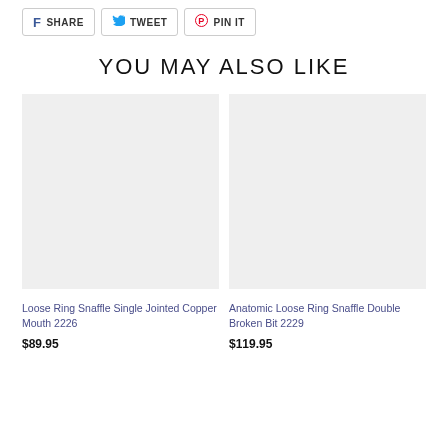SHARE   TWEET   PIN IT
YOU MAY ALSO LIKE
[Figure (photo): Product image placeholder – Loose Ring Snaffle Single Jointed Copper Mouth 2226]
Loose Ring Snaffle Single Jointed Copper Mouth 2226
$89.95
[Figure (photo): Product image placeholder – Anatomic Loose Ring Snaffle Double Broken Bit 2229]
Anatomic Loose Ring Snaffle Double Broken Bit 2229
$119.95